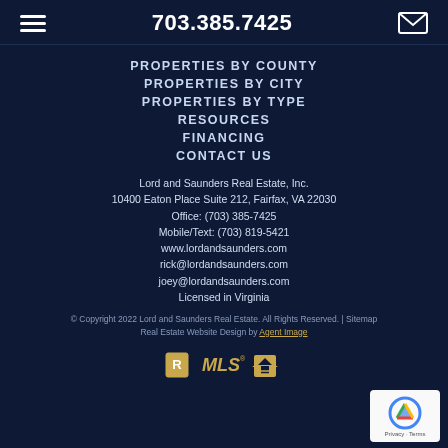703.385.7425
PROPERTIES BY COUNTY
PROPERTIES BY CITY
PROPERTIES BY TYPE
RESOURCES
FINANCING
CONTACT US
Lord and Saunders Real Estate, Inc.
10400 Eaton Place Suite 212, Fairfax, VA 22030
Office: (703) 385-7425
Mobile/Text: (703) 819-5421
www.lordandsaunders.com
rick@lordandsaunders.com
joey@lordandsaunders.com
Licensed in Virginia
© Copyright 2022 Lord and Saunders Real Estate. All Rights Reserved. | Sitemap
Real Estate Website Design by Agent Image
[Figure (logo): Realtor MLS Equal Housing Opportunity badge logos]